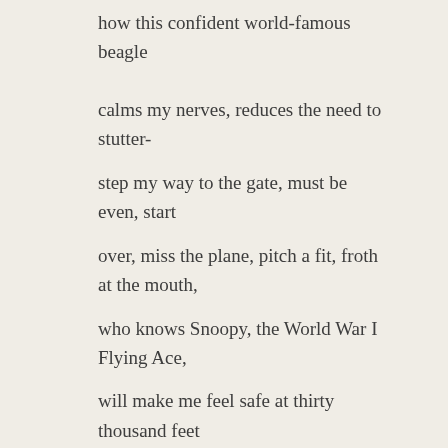how this confident world-famous beagle

calms my nerves, reduces the need to stutter-
step my way to the gate, must be even, start
over, miss the plane, pitch a fit, froth at the mouth,
who knows Snoopy, the World War I Flying Ace,
will make me feel safe at thirty thousand feet

keep me from screaming, grabbing my seatmate
with sweaty palms and sharp nails,
spilling hot coffee all over her Eileen Fisher pants
what Dr. Kathleen Carpenter does not know
is that the Snoopy thermos is filled with straight gin